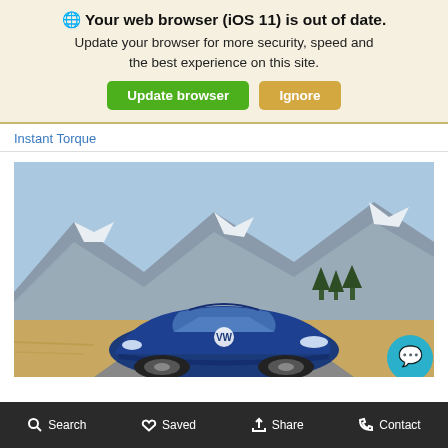🌐 Your web browser (iOS 11) is out of date. Update your browser for more security, speed and the best experience on this site. [Update browser] [Ignore]
Instant Torque
[Figure (photo): Blue Volkswagen ID.4 electric SUV driving on a road with a snow-dusted mountain backdrop. A teal chat bubble icon overlays the bottom-right corner.]
Search   Saved   Share   Contact